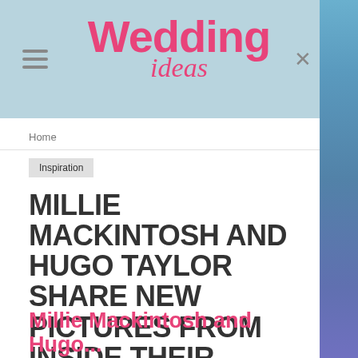Wedding ideas
Home
Inspiration
MILLIE MACKINTOSH AND HUGO TAYLOR SHARE NEW PICTURES FROM INSIDE THEIR FAIRYTALE WEDDING
By Annie Quinton  0
Millie Mackintosh and Hugo...